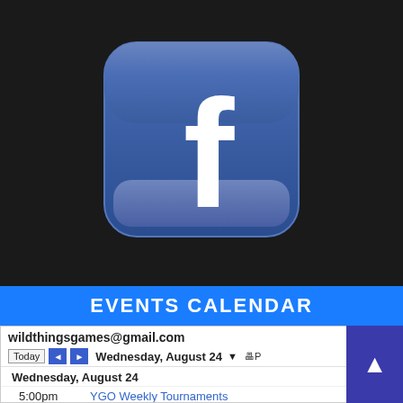[Figure (logo): Facebook app icon logo — rounded square with blue gradient background and white lowercase 'f' lettermark]
EVENTS CALENDAR
| wildthingsgames@gmail.com |  |
| Today  ◄  ►  Wednesday, August 24 ▼  🖶 |  |
| Wednesday, August 24 |  |
| 5:00pm | YGO Weekly Tournaments |
| Thursday, August 25 |  |